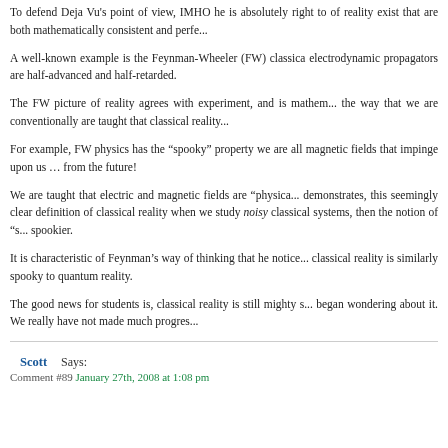To defend Deja Vu's point of view, IMHO he is absolutely right to ... of reality exist that are both mathematically consistent and perfe...
A well-known example is the Feynman-Wheeler (FW) classical electrodynamic propagators are half-advanced and half-retarded.
The FW picture of reality agrees with experiment, and is mathe... the way that we are conventionally are taught that classical reality...
For example, FW physics has the “spooky” property we are all magnetic fields that impinge upon us … from the future!
We are taught that electric and magnetic fields are “physica... demonstrates, this seemingly clear definition of classical reality when we study noisy classical systems, then the notion of “s... spookier.
It is characteristic of Feynman’s way of thinking that he notice... classical reality is similarly spooky to quantum reality.
The good news for students is, classical reality is still mighty s... began wondering about it. We really have not made much progres...
Scott Says:
Comment #89 January 27th, 2008 at 1:08 pm